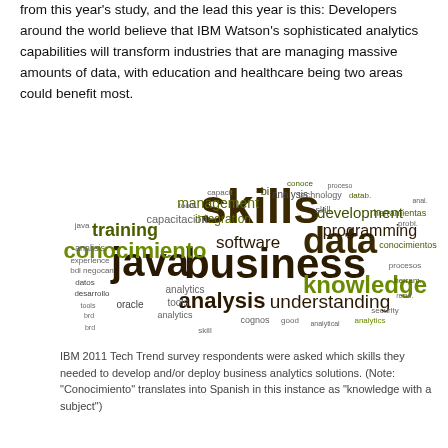from this year's study, and the lead this year is this: Developers around the world believe that IBM Watson's sophisticated analytics capabilities will transform industries that are managing massive amounts of data, with education and healthcare being two areas could benefit most.
[Figure (infographic): Word cloud showing skills needed for business analytics. Prominent words include: skills (large, dark olive/green), business (large, dark brown), java (large, dark brown), data (large, dark brown), conocimiento (large, olive green), knowledge (medium-large, olive green), analysis (medium, dark brown), understanding (medium, dark brown), training (medium, dark olive), software (medium, dark brown), programming (medium, dark brown), development (medium, dark brown), management (small, olive), integration (small), analytics (small), tools, oracle, security, cognos, and many others in various sizes and colors (dark brown, olive green).]
IBM 2011 Tech Trend survey respondents were asked which skills they needed to develop and/or deploy business analytics solutions. (Note: "Conocimiento" translates into Spanish in this instance as "knowledge with a subject")